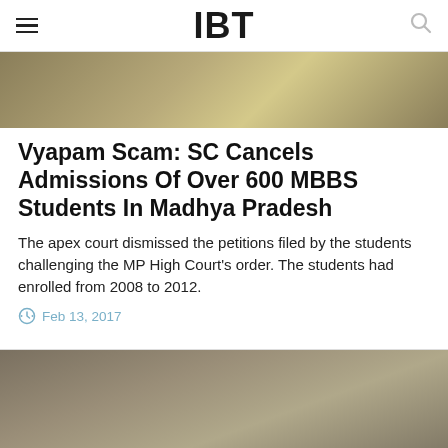IBT
[Figure (photo): Top banner image with olive/khaki gradient tones, partially visible article image]
Vyapam Scam: SC Cancels Admissions Of Over 600 MBBS Students In Madhya Pradesh
The apex court dismissed the petitions filed by the students challenging the MP High Court's order. The students had enrolled from 2008 to 2012.
Feb 13, 2017
[Figure (photo): Bottom article image with grey-brown blurred tones, partially cut off]